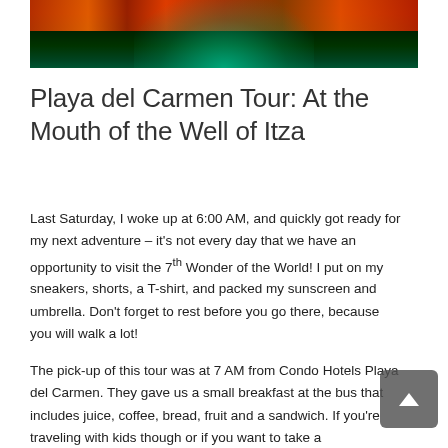[Figure (photo): Dark photo of an illuminated ancient building or pyramid at night with green and teal lighting, and fire or red/orange lights visible at the top]
Playa del Carmen Tour: At the Mouth of the Well of Itza
Last Saturday, I woke up at 6:00 AM, and quickly got ready for my next adventure – it's not every day that we have an opportunity to visit the 7th Wonder of the World! I put on my sneakers, shorts, a T-shirt, and packed my sunscreen and umbrella. Don't forget to rest before you go there, because you will walk a lot!
The pick-up of this tour was at 7 AM from Condo Hotels Playa del Carmen. They gave us a small breakfast at the bus that includes juice, coffee, bread, fruit and a sandwich. If you're traveling with kids though or if you want to take a